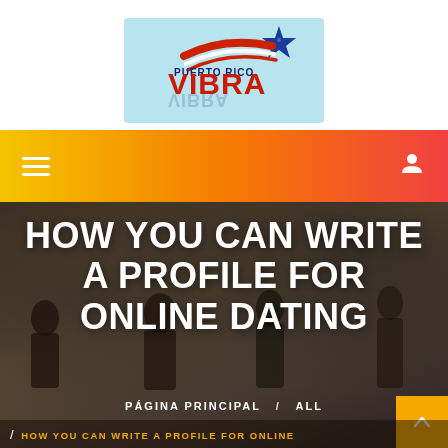[Figure (logo): Puerto Rico Vibra logo with star, American flag swoosh, and mirrored VIBRA text]
[Figure (screenshot): Gradient navigation bar with hamburger menu icon on left and user/person icon on right, orange-to-red gradient background]
HOW YOU CAN WRITE A PROFILE FOR ONLINE DATING
PÁGINA PRINCIPAL / ALL
/ HOW YOU CAN WRITE A PROFILE FOR ONLINE